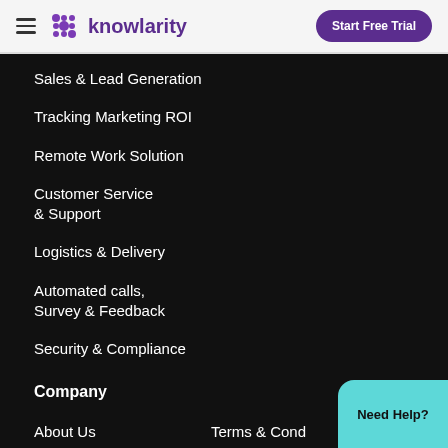[Figure (logo): Knowlarity logo with purple dot-grid icon and wordmark]
Start Free Trial
Sales & Lead Generation
Tracking Marketing ROI
Remote Work Solution
Customer Service & Support
Logistics & Delivery
Automated calls, Survey & Feedback
Security & Compliance
Company
About Us
Terms & Cond